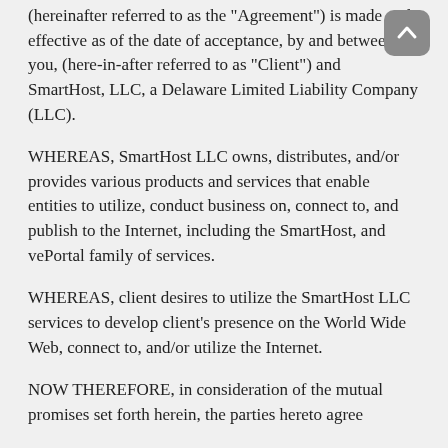(hereinafter referred to as the "Agreement") is made and effective as of the date of acceptance, by and between you, (here-in-after referred to as "Client") and SmartHost, LLC, a Delaware Limited Liability Company (LLC).
WHEREAS, SmartHost LLC owns, distributes, and/or provides various products and services that enable entities to utilize, conduct business on, connect to, and publish to the Internet, including the SmartHost, and vePortal family of services.
WHEREAS, client desires to utilize the SmartHost LLC services to develop client's presence on the World Wide Web, connect to, and/or utilize the Internet.
NOW THEREFORE, in consideration of the mutual promises set forth herein, the parties hereto agree